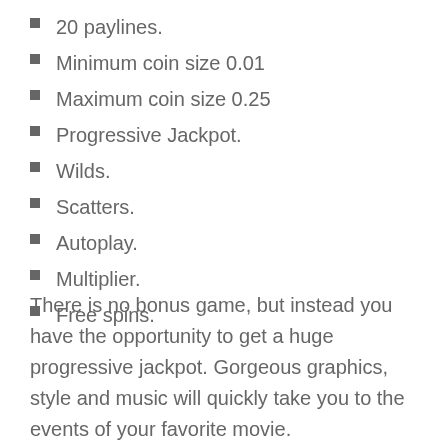20 paylines.
Minimum coin size 0.01
Maximum coin size 0.25
Progressive Jackpot.
Wilds.
Scatters.
Autoplay.
Multiplier.
Free spins.
There is no bonus game, but instead you have the opportunity to get a huge progressive jackpot. Gorgeous graphics, style and music will quickly take you to the events of your favorite movie.